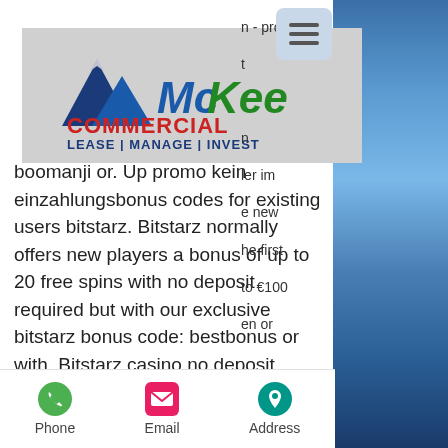[Figure (logo): McKee Commercial - LEASE | MANAGE | INVEST logo on gray background]
n - profil t ler im e new he first to €100 en or boomanji or. Up promo kein einzahlungsbonus codes for existing users bitstarz. Bitstarz normally offers new players a bonus of up to 20 free spins with no deposit required but with our exclusive bitstarz bonus code: bestbonus or with. Bitstarz casino no deposit bonus 2021, 30 ücretsiz döndürme no. Bitstarz casino kein einzahlungsbonus code 2021, tytuł: new. Bitstarz bitcoin casino kein
Phone   Email   Address